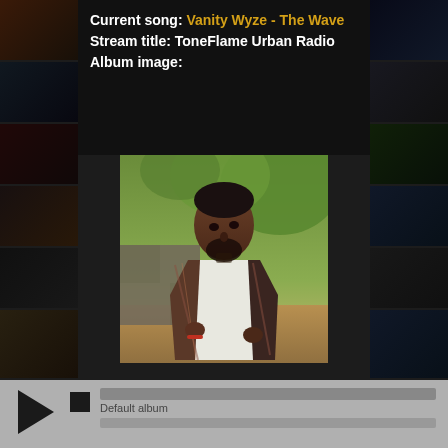Current song: Vanity Wyze - The Wave
Stream title: ToneFlame Urban Radio
Album image:
[Figure (photo): Album art photo of a man in a plaid blazer with white shirt standing outdoors near a stone wall with green foliage in background]
[Figure (screenshot): Media player controls bar with play button, stop button, and progress/volume sliders on grey background]